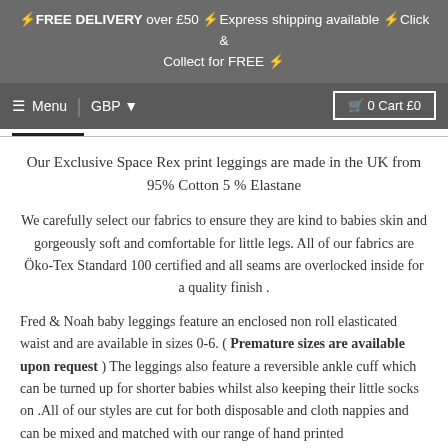⚡FREE DELIVERY over £50 ⚡Express shipping available ⚡Click & Collect for FREE ⚡
Menu | GBP ▼ | 🛒 0 Cart £0
Our Exclusive Space Rex print leggings are made in the UK from 95% Cotton 5 % Elastane
We carefully select our fabrics to ensure they are kind to babies skin and gorgeously soft and comfortable for little legs. All of our fabrics are Öko-Tex Standard 100 certified and all seams are overlocked inside for a quality finish .
Fred & Noah baby leggings feature an enclosed non roll elasticated waist and are available in sizes 0-6. ( Premature sizes are available upon request ) The leggings also feature a reversible ankle cuff which can be turned up for shorter babies whilst also keeping their little socks on .All of our styles are cut for both disposable and cloth nappies and can be mixed and matched with our range of hand printed